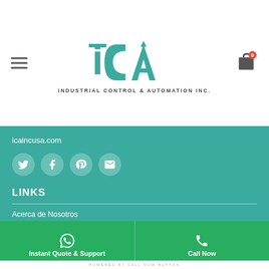[Figure (logo): ICA Industrial Control & Automation Inc. logo with teal/green icon lettering and dark subtitle text]
icaincusa.com
[Figure (infographic): Social media icon circles: Twitter, Facebook, Pinterest, Email]
LINKS
Acerca de Nosotros
Conoce al Equipo
Devoluciones
Politica de Privacidad
Mi Cuenta
Instant Quote & Support | Call Now | POWERED BY CALL NOW BUTTON